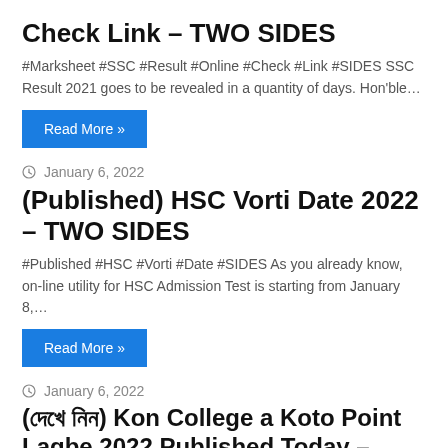Check Link – TWO SIDES
#Marksheet #SSC #Result #Online #Check #Link #SIDES SSC Result 2021 goes to be revealed in a quantity of days. Hon'ble…
Read More »
January 6, 2022
(Published) HSC Vorti Date 2022 – TWO SIDES
#Published #HSC #Vorti #Date #SIDES As you already know, on-line utility for HSC Admission Test is starting from January 8,…
Read More »
January 6, 2022
(দেখে নিন) Kon College a Koto Point Lagbe 2022 Published Today – TWO SIDES #দখ #নন #Kon #College #Koto #Point #Lagbe #Published #Today #SIDES